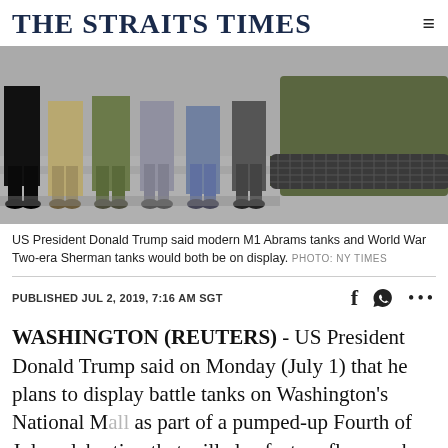THE STRAITS TIMES
[Figure (photo): People standing next to a military tank with tank tracks visible on the right side. The photo shows legs and lower bodies of several individuals in civilian and military clothing in an indoor setting.]
US President Donald Trump said modern M1 Abrams tanks and World War Two-era Sherman tanks would both be on display. PHOTO: NY TIMES
PUBLISHED JUL 2, 2019, 7:16 AM SGT
WASHINGTON (REUTERS) - US President Donald Trump said on Monday (July 1) that he plans to display battle tanks on Washington's National Mall as part of a pumped-up Fourth of July celebration that will also feature flyovers by fighter jets and